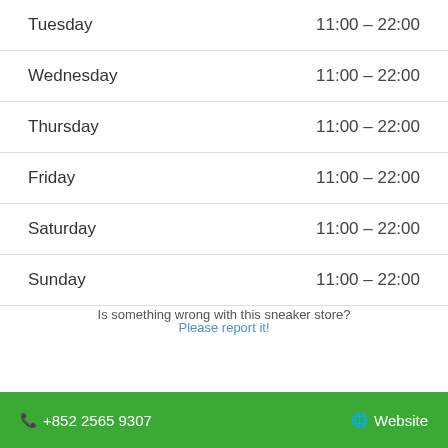| Day | Hours |
| --- | --- |
| Tuesday | 11:00 – 22:00 |
| Wednesday | 11:00 – 22:00 |
| Thursday | 11:00 – 22:00 |
| Friday | 11:00 – 22:00 |
| Saturday | 11:00 – 22:00 |
| Sunday | 11:00 – 22:00 |
Is something wrong with this sneaker store?
Please report it!
📞 +852 2565 9307    🌐 Website